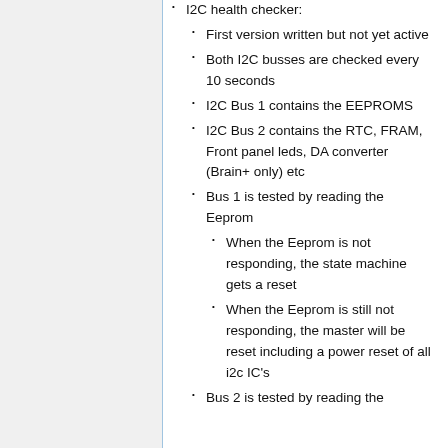I2C health checker:
First version written but not yet active
Both I2C busses are checked every 10 seconds
I2C Bus 1 contains the EEPROMS
I2C Bus 2 contains the RTC, FRAM, Front panel leds, DA converter (Brain+ only) etc
Bus 1 is tested by reading the Eeprom
When the Eeprom is not responding, the state machine gets a reset
When the Eeprom is still not responding, the master will be reset including a power reset of all i2c IC's
Bus 2 is tested by reading the